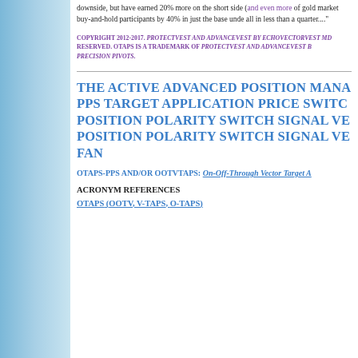downside, but have earned 20% more on the short side (and even more...) of gold market buy-and-hold participants by 40% in just the base under... all in less than a quarter...."
COPYRIGHT 2012-2017. PROTECTVEST AND ADVANCEVEST BY ECHOVECTORVEST MD... RESERVED. OTAPS IS A TRADEMARK OF PROTECTVEST AND ADVANCEVEST B... PRECISION PIVOTS.
THE ACTIVE ADVANCED POSITION MANA... PPS TARGET APPLICATION PRICE SWITC... POSITION POLARITY SWITCH SIGNAL VE... POSITION POLARITY SWITCH SIGNAL VE... FAN
OTAPS-PPS AND/OR OOTVTAPS: On-Off-Through Vector Target A...
ACRONYM REFERENCES
OTAPS (OOTV, V-TAPS, O-TAPS)